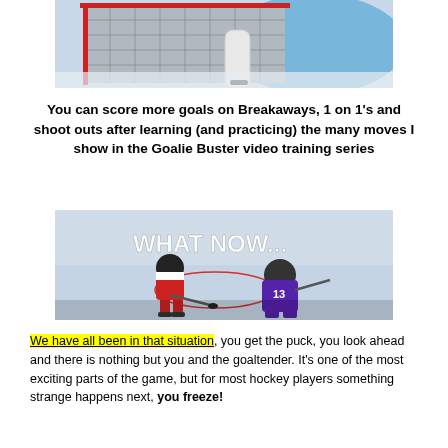[Figure (photo): Close-up photo of a hockey goal net and blue crease on ice, with a goalie pad visible]
You can score more goals on Breakaways, 1 on 1's and shoot outs after learning (and practicing) the many moves I show in the Goalie Buster video training series
[Figure (photo): Hockey ice rink photo showing a player in red and white jersey facing a goaltender in purple jersey, with text overlay reading 'WHAT NOW...']
We have all been in that situation, you get the puck, you look ahead and there is nothing but you and the goaltender. It's one of the most exciting parts of the game, but for most hockey players something strange happens next, you freeze!